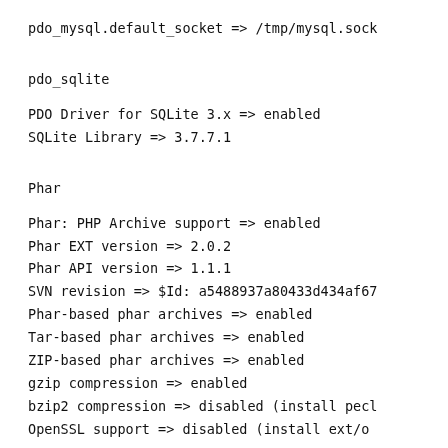pdo_mysql.default_socket => /tmp/mysql.sock
pdo_sqlite
PDO Driver for SQLite 3.x => enabled
SQLite Library => 3.7.7.1
Phar
Phar: PHP Archive support => enabled
Phar EXT version => 2.0.2
Phar API version => 1.1.1
SVN revision => $Id: a5488937a80433d434af67
Phar-based phar archives => enabled
Tar-based phar archives => enabled
ZIP-based phar archives => enabled
gzip compression => enabled
bzip2 compression => disabled (install pecl
OpenSSL support => disabled (install ext/o